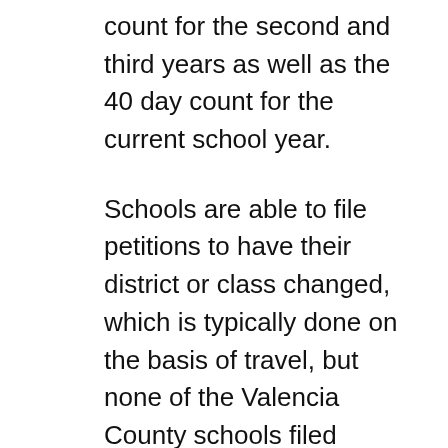count for the second and third years as well as the 40 day count for the current school year.
Schools are able to file petitions to have their district or class changed, which is typically done on the basis of travel, but none of the Valencia County schools filed protests, which were heard on Wednesday.
In the past, county schools had protested after being put in a district with schools in the southern half of the state.
The Tigers new district sets up particularly intriguing matchups in boys soccer, as now the defending 4A and 5A state champions, Los